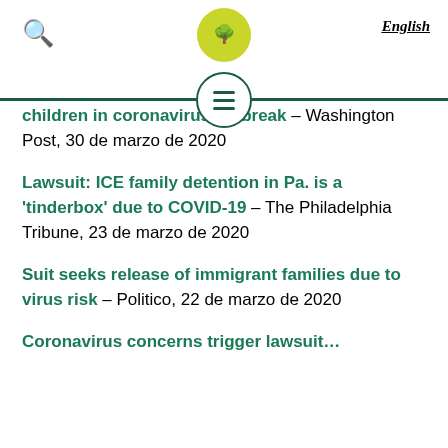Q  [logo]  English
children in corona[…] outbreak – Washington Post, 30 de marzo de 2020
Lawsuit: ICE family detention in Pa. is a 'tinderbox' due to COVID-19 – The Philadelphia Tribune, 23 de marzo de 2020
Suit seeks release of immigrant families due to virus risk – Politico, 22 de marzo de 2020
Coronavirus concerns trigger lawsuit…